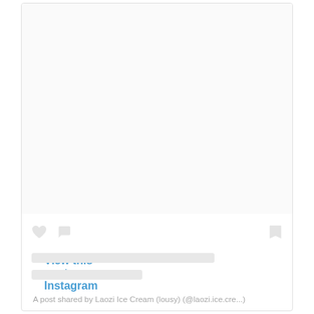View this post on Instagram
A post shared by Laozi Ice Cream (lousy) (@laozi.ice.cre...)